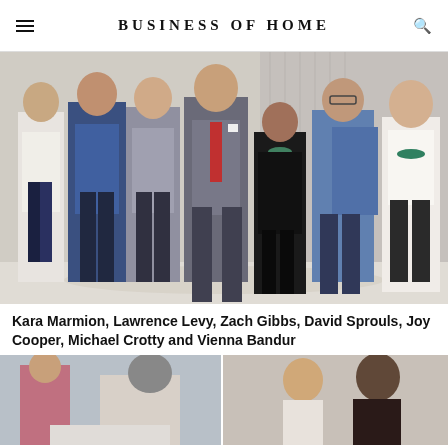BUSINESS OF HOME
[Figure (photo): Group photo of seven people standing together indoors: Kara Marmion, Lawrence Levy, Zach Gibbs, David Sprouls, Joy Cooper, Michael Crotty and Vienna Bandur]
Kara Marmion, Lawrence Levy, Zach Gibbs, David Sprouls, Joy Cooper, Michael Crotty and Vienna Bandur
[Figure (photo): Two side-by-side event photos showing attendees at a Business of Home event]